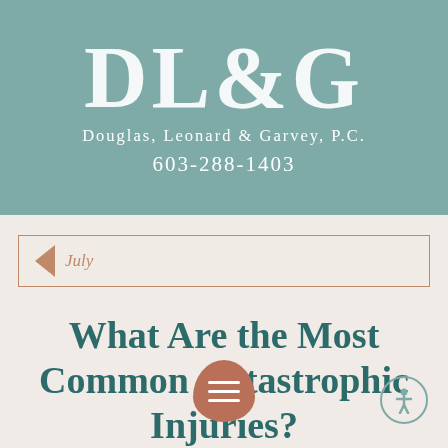[Figure (logo): DL&G law firm logo with large serif letters on teal background, with firm name Douglas, Leonard & Garvey, P.C. and phone number 603-288-1403]
July
What Are the Most Common Catastrophic Injuries?